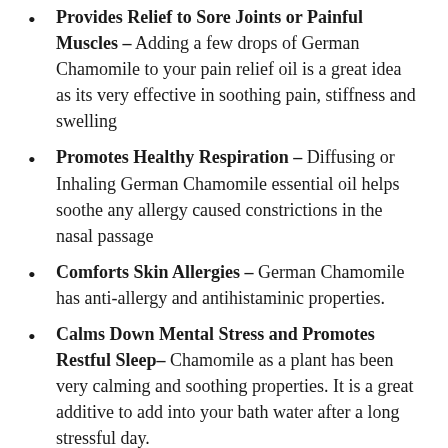Provides Relief to Sore Joints or Painful Muscles – Adding a few drops of German Chamomile to your pain relief oil is a great idea as its very effective in soothing pain, stiffness and swelling
Promotes Healthy Respiration – Diffusing or Inhaling German Chamomile essential oil helps soothe any allergy caused constrictions in the nasal passage
Comforts Skin Allergies – German Chamomile has anti-allergy and antihistaminic properties.
Calms Down Mental Stress and Promotes Restful Sleep– Chamomile as a plant has been very calming and soothing properties. It is a great additive to add into your bath water after a long stressful day.
SPIRITUAL BENEFITS OF CHAMOMILE ESSENTIAL OIL
Chamomile Essential Oil instils a sense of calm, ease and balance. It is known to help dispel anger, resentment and